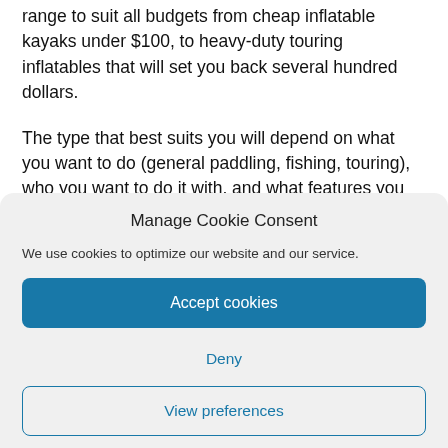range to suit all budgets from cheap inflatable kayaks under $100, to heavy-duty touring inflatables that will set you back several hundred dollars.
The type that best suits you will depend on what you want to do (general paddling, fishing, touring), who you want to do it with, and what features you require.
Manage Cookie Consent
We use cookies to optimize our website and our service.
Accept cookies
Deny
View preferences